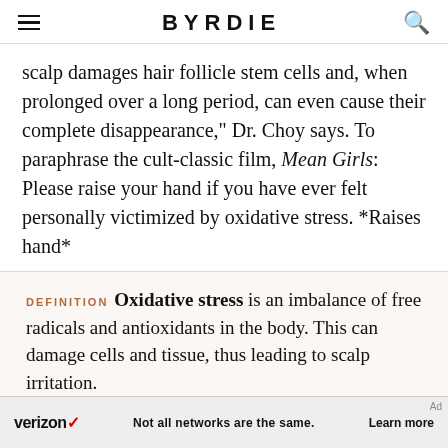BYRDIE
scalp damages hair follicle stem cells and, when prolonged over a long period, can even cause their complete disappearance," Dr. Choy says. To paraphrase the cult-classic film, Mean Girls: Please raise your hand if you have ever felt personally victimized by oxidative stress. *Raises hand*
DEFINITION Oxidative stress is an imbalance of free radicals and antioxidants in the body. This can damage cells and tissue, thus leading to scalp irritation.
[Figure (screenshot): Verizon advertisement banner: 'Not all networks are the same. Learn more']